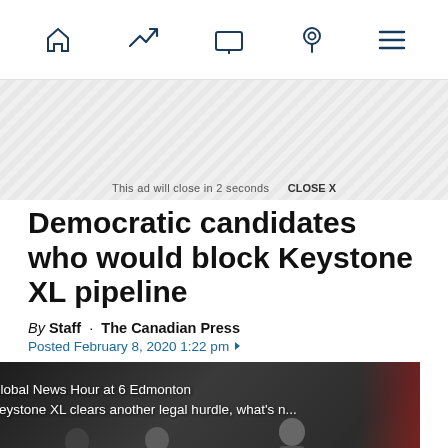Navigation bar with home, trending, video, location, and menu icons
[Figure (other): Ad banner stripe with diagonal hatching pattern]
This ad will close in 2 seconds   CLOSE X
Democratic candidates who would block Keystone XL pipeline
By Staff · The Canadian Press
Posted February 8, 2020 1:22 pm ▾
[Figure (screenshot): Video thumbnail showing Global News Hour at 6 Edmonton: Keystone XL clears another legal hurdle, what's n... with a play button overlay. Shows people in a warehouse setting with Canadian flags.]